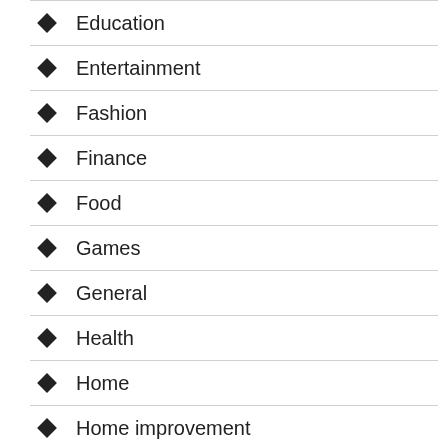Education
Entertainment
Fashion
Finance
Food
Games
General
Health
Home
Home improvement